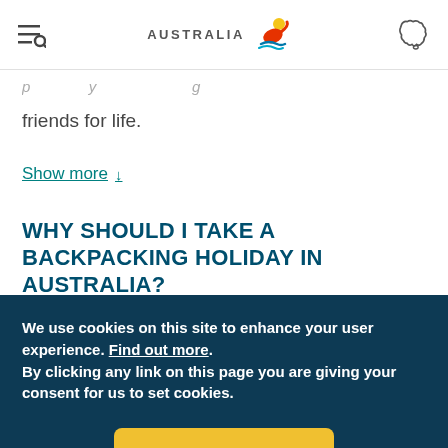Australia tourism website header with menu, logo, and map icon
friends for life.
Show more ↓
WHY SHOULD I TAKE A BACKPACKING HOLIDAY IN AUSTRALIA?
We use cookies on this site to enhance your user experience. Find out more. By clicking any link on this page you are giving your consent for us to set cookies.
Ok, I agree